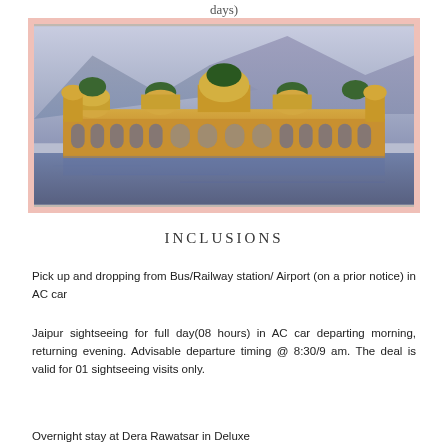days)
[Figure (photo): Jal Mahal (Water Palace) in Jaipur, India — a golden-yellow palace partially submerged in a lake, with trees growing on its rooftop domes, set against purple-blue mountains in the background and calm water in the foreground.]
INCLUSIONS
Pick up and dropping from Bus/Railway station/ Airport (on a prior notice) in AC car
Jaipur sightseeing for full day(08 hours) in AC car departing morning, returning evening. Advisable departure timing @ 8:30/9 am. The deal is valid for 01 sightseeing visits only.
Overnight stay at Dera Rawatsar in Deluxe